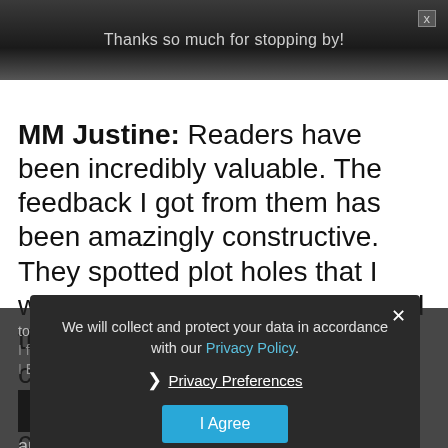Thanks so much for stopping by!
MM Justine: Readers have been incredibly valuable. The feedback I got from them has been amazingly constructive. They spotted plot holes that I was able to patch when I revised the books. I added an extra chapter to Book 2 to give it a more rounded ending, and I changed the covers of both books. I learnt that it is okay to rewrite things and resolve problems the first time...move on, I...n't know...every and accurate. There is almost no author who
We will collect and protect your data in accordance with our Privacy Policy.
Privacy Preferences
I Agree
Email Address
SUBSCRIBE
and accurate. There is almost no author who